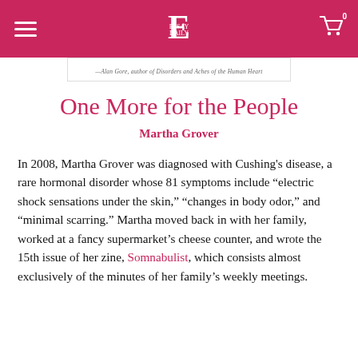E (logo/header bar)
[Figure (other): Book cover or promotional image partially visible with caption text below]
One More for the People
Martha Grover
In 2008, Martha Grover was diagnosed with Cushing's disease, a rare hormonal disorder whose 81 symptoms include “electric shock sensations under the skin,” “changes in body odor,” and “minimal scarring.” Martha moved back in with her family, worked at a fancy supermarket’s cheese counter, and wrote the 15th issue of her zine, Somnabulist, which consists almost exclusively of the minutes of her family’s weekly meetings.